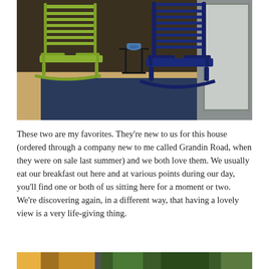[Figure (photo): Two rocking chairs on a porch: a lime green one on the left and a dark navy blue one on the right, with a small folding table and a blue mug between them.]
These two are my favorites. They're new to us for this house (ordered through a company new to me called Grandin Road, when they were on sale last summer) and we both love them. We usually eat our breakfast out here and at various points during our day, you'll find one or both of us sitting here for a moment or two. We're discovering again, in a different way, that having a lovely view is a very life-giving thing.
[Figure (photo): Partial view of another outdoor scene, partially cropped at the bottom of the page.]